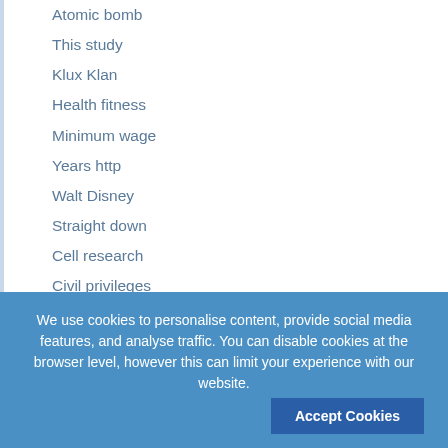Atomic bomb
This study
Klux Klan
Health fitness
Minimum wage
Years http
Walt Disney
Straight down
Cell research
Civil privileges
Personal mother
Back button
Nineteenth century
We use cookies to personalise content, provide social media features, and analyse traffic. You can disable cookies at the browser level, however this can limit your experience with our website.
Accept Cookies